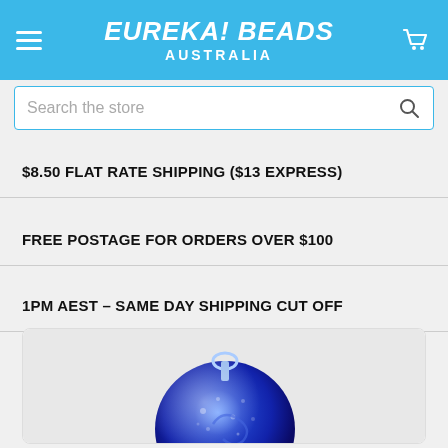EUREKA! BEADS AUSTRALIA
Search the store
$8.50 FLAT RATE SHIPPING ($13 EXPRESS)
FREE POSTAGE FOR ORDERS OVER $100
1PM AEST - SAME DAY SHIPPING CUT OFF
[Figure (photo): Close-up photo of a blue glass bead with swirl and bubble texture pattern]